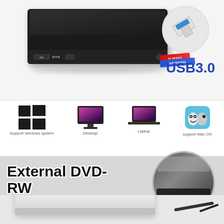[Figure (photo): Product listing image for an External DVD-RW Type-C USB 3.0 drive. Top section shows a black slim external DVD drive on white background with a USB 3.0 adapter in a circle and USB 3.0 hi-speed logo. Middle section shows compatibility icons: Windows logo with 'Support windows system', a desktop monitor labeled 'Desktop', a laptop labeled 'Laptop', and Mac Finder icon labeled 'support Mac OS'. Bottom section shows text 'External DVD-RW' in bold black with white outline and 'Type-C USB 3.0' in cyan/turquoise bold text, alongside a circular photo of the drive in use next to a keyboard, and a bottom photo of a silver/white external DVD drive with cable.]